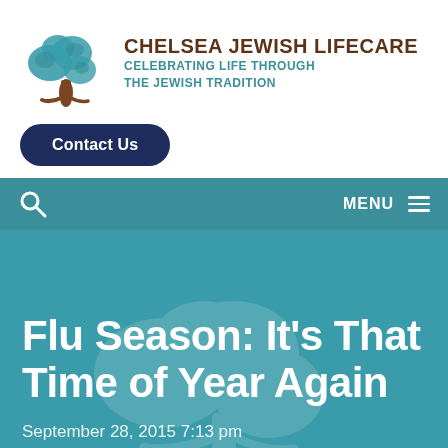[Figure (logo): Chelsea Jewish Lifecare logo with a stylized tree (teal leaves, brown trunk) and the text 'CHELSEA JEWISH LIFECARE' in bold dark brown, and beneath it 'CELEBRATING LIFE THROUGH THE JEWISH TRADITION' in teal uppercase letters.]
Contact Us
MENU
Flu Season: It's That Time of Year Again
September 28, 2015 7:13 pm